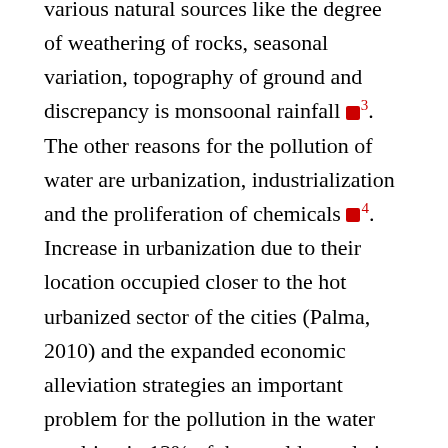various natural sources like the degree of weathering of rocks, seasonal variation, topography of ground and discrepancy is monsoonal rainfall [3]. The other reasons for the pollution of water are urbanization, industrialization and the proliferation of chemicals [4]. Increase in urbanization due to their location occupied closer to the hot urbanized sector of the cities (Palma, 2010) and the expanded economic alleviation strategies an important problem for the pollution in the water resulting in 13% of the world population unable to access drinking water [5]. This may lead to half of the world population suffer from